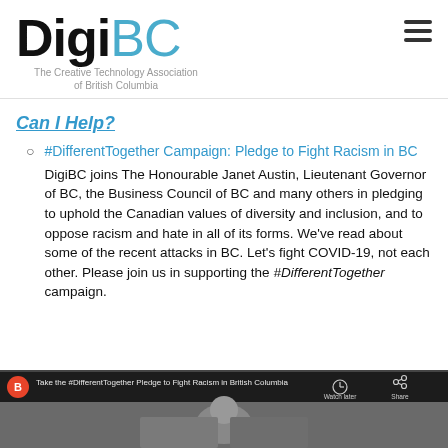[Figure (logo): DigiBC logo with 'Digi' in black bold and 'BC' in light blue, with subtitle 'The Creative Technology Association of British Columbia']
Can I Help?
#DifferentTogether Campaign: Pledge to Fight Racism in BC
DigiBC joins The Honourable Janet Austin, Lieutenant Governor of BC, the Business Council of BC and many others in pledging to uphold the Canadian values of diversity and inclusion, and to oppose racism and hate in all of its forms. We've read about some of the recent attacks in BC. Let's fight COVID-19, not each other. Please join us in supporting the #DifferentTogether campaign.
[Figure (screenshot): YouTube video thumbnail showing 'Take the #DifferentTogether Pledge to Fight Racism in British Columbia' with a person visible and Watch later / Share buttons]